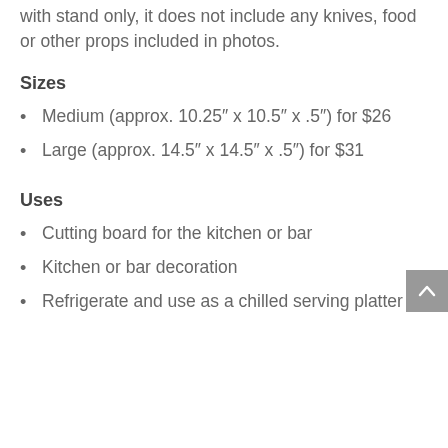with stand only, it does not include any knives, food or other props included in photos.
Sizes
Medium (approx. 10.25″ x 10.5″ x .5″) for $26
Large (approx. 14.5″ x 14.5″ x .5″) for $31
Uses
Cutting board for the kitchen or bar
Kitchen or bar decoration
Refrigerate and use as a chilled serving platter